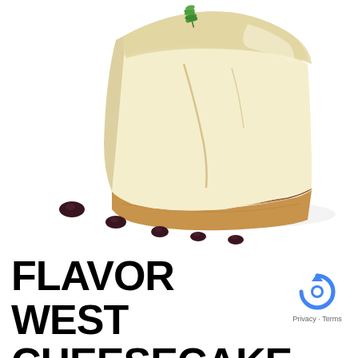[Figure (photo): A slice of cheesecake on a white plate with a graham cracker crust, smooth creamy filling, and a mint leaf garnish on top. Five dark berry sauce dots are arranged in a diagonal line in front of the cheesecake slice.]
FLAVOR WEST CHEESECAKE